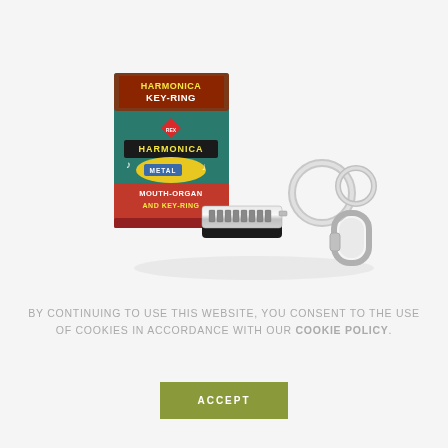[Figure (photo): Product photo of a Harmonica Key-Ring: a retro-style small box with teal and red packaging reading 'HARMONICA KEY-RING / HARMONICA / METAL / MOUTH-ORGAN KEY-RING', alongside the actual miniature metal harmonica attached to a silver keyring with a lobster clasp.]
By continuing to use this website, you consent to the use of cookies in accordance with our Cookie Policy.
ACCEPT